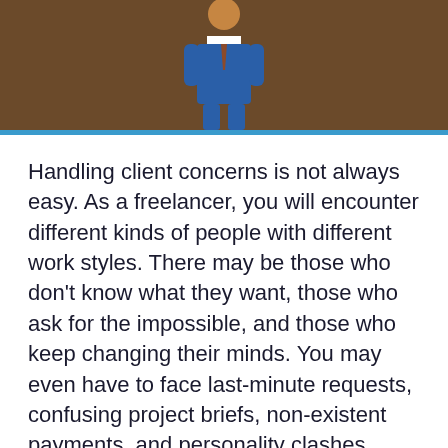[Figure (illustration): Illustrated figure of a person in business attire against a brown background, with a cyan/blue horizontal divider bar below]
Handling client concerns is not always easy. As a freelancer, you will encounter different kinds of people with different work styles. There may be those who don’t know what they want, those who ask for the impossible, and those who keep changing their minds. You may even have to face last-minute requests, confusing project briefs, non-existent payments, and personality clashes, among other things.
A freelancer-client relationship is a delicate